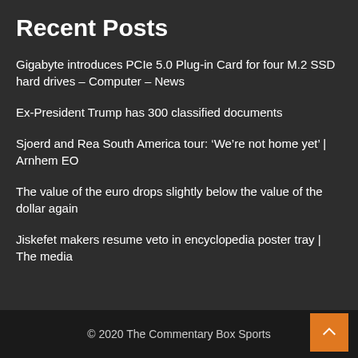Recent Posts
Gigabyte introduces PCIe 5.0 Plug-in Card for four M.2 SSD hard drives – Computer – News
Ex-President Trump has 300 classified documents
Sjoerd and Rea South America tour: ‘We’re not home yet’ | Arnhem EO
The value of the euro drops slightly below the value of the dollar again
Jiskefet makers resume veto in encyclopedia poster tray | The media
© 2020 The Commentary Box Sports